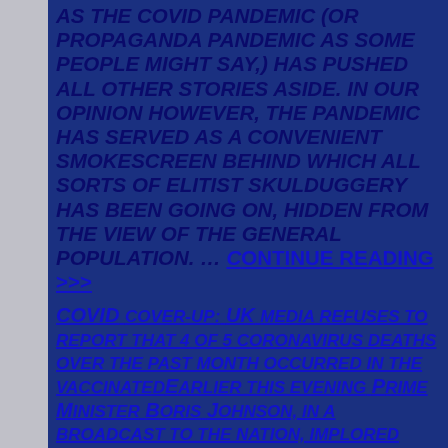AS THE COVID PANDEMIC (OR PROPAGANDA PANDEMIC AS SOME PEOPLE MIGHT SAY,) HAS PUSHED ALL OTHER STORIES ASIDE. IN OUR OPINION HOWEVER, THE PANDEMIC HAS SERVED AS A CONVENIENT SMOKESCREEN BEHIND WHICH ALL SORTS OF ELITIST SKULDUGGERY HAS BEEN GOING ON, HIDDEN FROM THE VIEW OF THE GENERAL POPULATION. … CONTINUE READING >>>
COVID COVER-UP: UK MEDIA REFUSES TO REPORT THAT 4 OF 5 CORONAVIRUS DEATHS OVER THE PAST MONTH OCCURRED IN THE VACCINATEDEarlier this evening Prime Minister Boris Johnson, in a broadcast to the nation, implored British citizens to continue doing what they've been